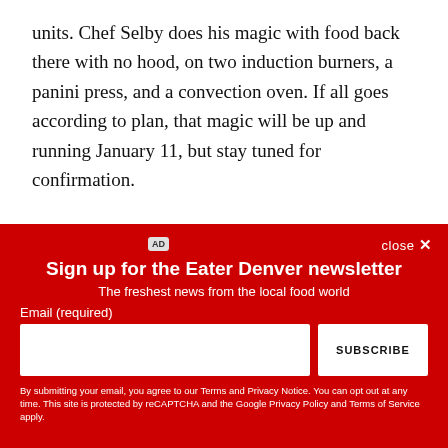units. Chef Selby does his magic with food back there with no hood, on two induction burners, a panini press, and a convection oven. If all goes according to plan, that magic will be up and running January 11, but stay tuned for confirmation.
[Figure (photo): Partial view of an advertisement banner with tropical jungle/plant imagery (green leaves, palm fronds) and an AD badge in the top-left corner.]
close ✕
Sign up for the Eater Denver newsletter
The freshest news from the local food world
Email (required)
SUBSCRIBE
By submitting your email, you agree to our Terms and Privacy Notice. You can opt out at any time. This site is protected by reCAPTCHA and the Google Privacy Policy and Terms of Service apply.